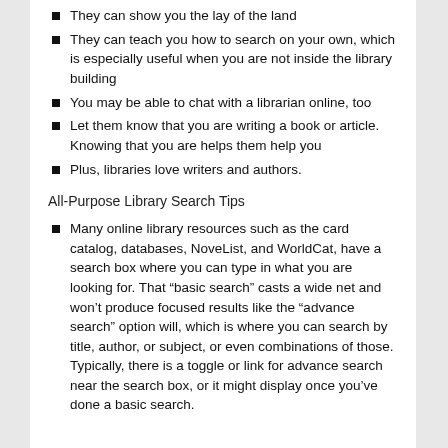They can show you the lay of the land
They can teach you how to search on your own, which is especially useful when you are not inside the library building
You may be able to chat with a librarian online, too
Let them know that you are writing a book or article. Knowing that you are helps them help you
Plus, libraries love writers and authors.
All-Purpose Library Search Tips
Many online library resources such as the card catalog, databases, NoveList, and WorldCat, have a search box where you can type in what you are looking for. That “basic search” casts a wide net and won’t produce focused results like the “advance search” option will, which is where you can search by title, author, or subject, or even combinations of those. Typically, there is a toggle or link for advance search near the search box, or it might display once you’ve done a basic search.